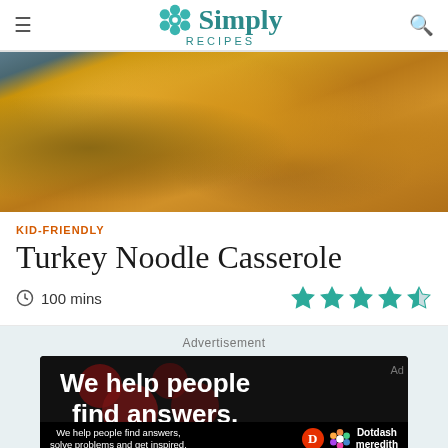Simply Recipes
[Figure (photo): Close-up photo of a baked turkey noodle casserole with golden breadcrumb topping in a dark baking dish]
KID-FRIENDLY
Turkey Noodle Casserole
100 mins
Advertisement
[Figure (photo): Advertisement banner: 'We help people find answers.' with Dotdash Meredith branding on black background with dark red circles]